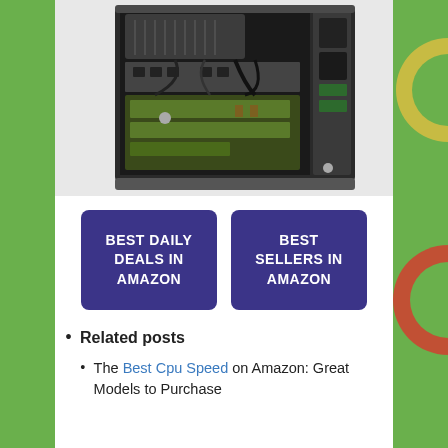[Figure (photo): Open computer tower case showing internal components including motherboard, expansion cards, cables, and drive bays.]
[Figure (infographic): Two dark purple/indigo rectangular buttons side by side. Left button reads 'BEST DAILY DEALS IN AMAZON'. Right button reads 'BEST SELLERS IN AMAZON'.]
Related posts
The Best Cpu Speed on Amazon: Great Models to Purchase